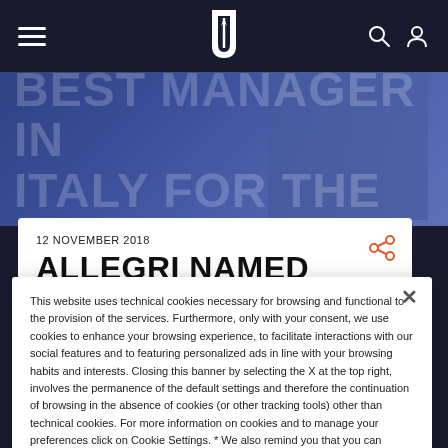Juventus navigation bar with hamburger menu, Juventus logo, search and user icons
[Figure (photo): Hero background image showing a person, overlaid with large semi-transparent text 'BEST MANAGER IN ITALY FOR THE']
12 NOVEMBER 2018
ALLEGRI NAMED BEST MANAGER IN ITALY FOR THE
This website uses technical cookies necessary for browsing and functional to the provision of the services. Furthermore, only with your consent, we use cookies to enhance your browsing experience, to facilitate interactions with our social features and to featuring personalized ads in line with your browsing habits and interests. Closing this banner by selecting the X at the top right, involves the permanence of the default settings and therefore the continuation of browsing in the absence of cookies (or other tracking tools) other than technical cookies. For more information on cookies and to manage your preferences click on Cookie Settings. * We also remind you that you can always change your preferences by accessing the "Cookie Settings" section